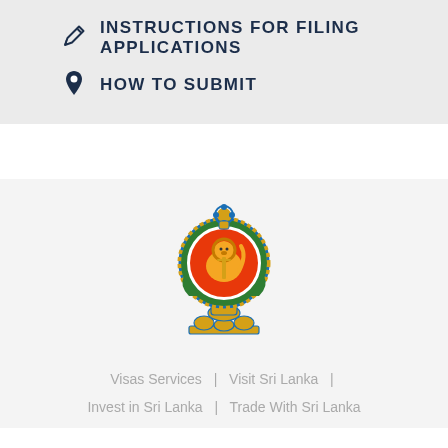INSTRUCTIONS FOR FILING APPLICATIONS
HOW TO SUBMIT
[Figure (logo): Sri Lanka Government coat of arms / national emblem featuring a lion, decorative circular border, vase, and supporting elements in blue, gold, green, and red colors]
Visas Services  |  Visit Sri Lanka  |  Invest in Sri Lanka  |  Trade With Sri Lanka